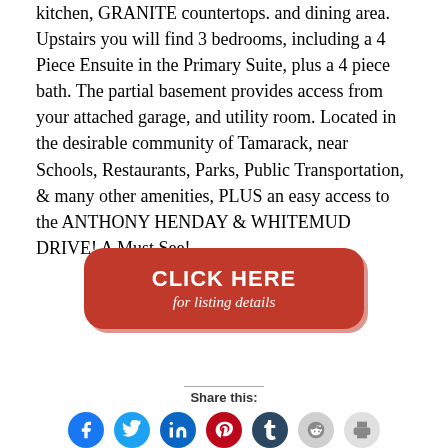kitchen, GRANITE countertops. and dining area. Upstairs you will find 3 bedrooms, including a 4 Piece Ensuite in the Primary Suite, plus a 4 piece bath. The partial basement provides access from your attached garage, and utility room. Located in the desirable community of Tamarack, near Schools, Restaurants, Parks, Public Transportation, & many other amenities, PLUS an easy access to the ANTHONY HENDAY & WHITEMUD DRIVE! A Must See!
[Figure (other): Red rounded button with text CLICK HERE for listing details]
Share this:
[Figure (other): Row of social media share icons: Facebook, Twitter, LinkedIn, Pinterest, Tumblr, Reddit, Print]